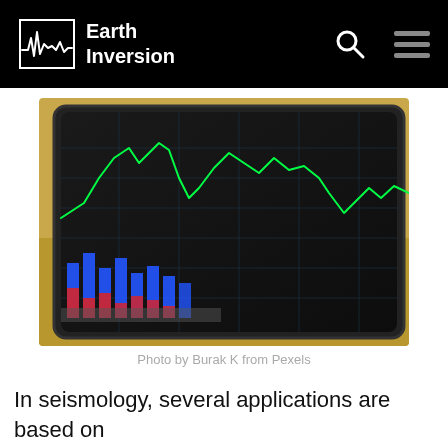Earth Inversion
[Figure (photo): A tablet displaying financial or seismic data charts with green line graph and blue/red bar charts on a dark background, photographed at an angle on a wooden surface.]
Photo by Burak K from Pexels
In seismology, several applications are based on